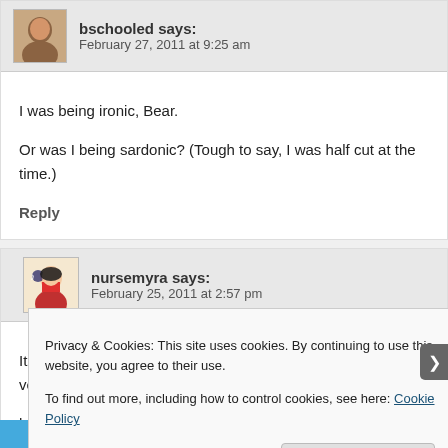bschooled says: February 27, 2011 at 9:25 am
I was being ironic, Bear.
Or was I being sardonic? (Tough to say, I was half cut at the time.)
Reply
nursemyra says: February 25, 2011 at 2:57 pm
It sounds like a crash course.... I'd prefer the advanced version which
http://nursemyra.wordpress.com/2007/05/03/the-travelling-figure-eigh
Privacy & Cookies: This site uses cookies. By continuing to use this website, you agree to their use. To find out more, including how to control cookies, see here: Cookie Policy
Close and accept